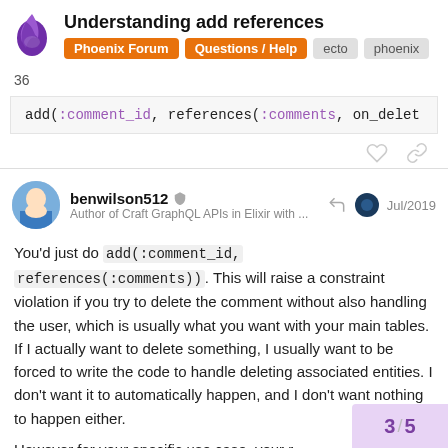Understanding add references | Phoenix Forum | Questions / Help | ecto | phoenix
36
[Figure (screenshot): Code block showing: add(:comment_id, references(:comments, on_delet...]
benwilson512 — Author of Craft GraphQL APIs in Elixir with ... — Jul/2019
You'd just do add(:comment_id, references(:comments)). This will raise a constraint violation if you try to delete the comment without also handling the user, which is usually what you want with your main tables. If I actually want to delete something, I usually want to be forced to write the code to handle deleting associated entities. I don't want it to automatically happen, and I don't want nothing to happen either.
However for your specific use case, your r...
3 / 5